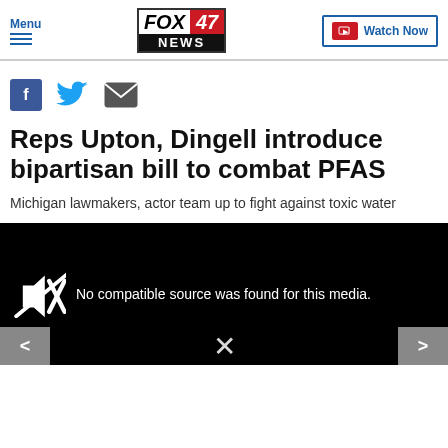Menu | FOX 47 NEWS | Watch Now
[Figure (screenshot): Social share icons: Facebook, Twitter, Email]
Reps Upton, Dingell introduce bipartisan bill to combat PFAS
Michigan lawmakers, actor team up to fight against toxic water
[Figure (screenshot): Video player showing error: No compatible source was found for this media.]